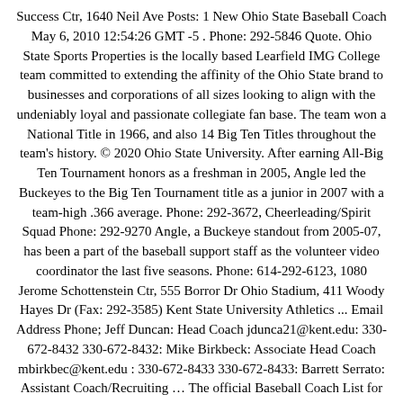Success Ctr, 1640 Neil Ave Posts: 1 New Ohio State Baseball Coach May 6, 2010 12:54:26 GMT -5 . Phone: 292-5846 Quote. Ohio State Sports Properties is the locally based Learfield IMG College team committed to extending the affinity of the Ohio State brand to businesses and corporations of all sizes looking to align with the undeniably loyal and passionate collegiate fan base. The team won a National Title in 1966, and also 14 Big Ten Titles throughout the team's history. © 2020 Ohio State University. After earning All-Big Ten Tournament honors as a freshman in 2005, Angle led the Buckeyes to the Big Ten Tournament title as a junior in 2007 with a team-high .366 average. Phone: 292-3672, Cheerleading/Spirit Squad Phone: 292-9270 Angle, a Buckeye standout from 2005-07, has been a part of the baseball support staff as the volunteer video coordinator the last five seasons. Phone: 614-292-6123, 1080 Jerome Schottenstein Ctr, 555 Borror Dr Ohio Stadium, 411 Woody Hayes Dr (Fax: 292-3585) Kent State University Athletics ... Email Address Phone; Jeff Duncan: Head Coach jdunca21@kent.edu: 330-672-8432 330-672-8432: Mike Birkbeck: Associate Head Coach mbirkbec@kent.edu : 330-672-8433 330-672-8433: Barrett Serrato: Assistant Coach/Recruiting … The official Baseball Coach List for the Michigan State University Spartans Skip To Main Content ... Center Munn Arena Jenison Field House Accessible Ask the Coach Auctions Big Ten Network Broadcast Affiliates Celebrate Safely Coaches Radio Shows Email Sign Up Form Facilities First Game Certificate